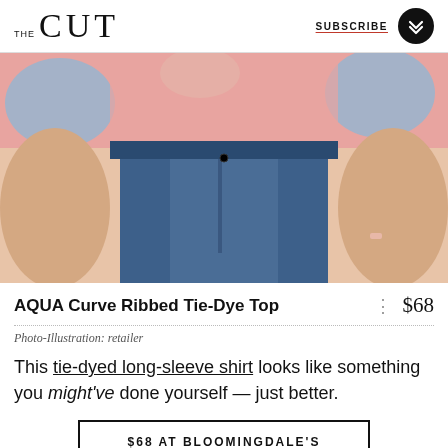THE CUT | SUBSCRIBE
[Figure (photo): Close-up photo of a person wearing blue jeans and a pink and blue tie-dye long-sleeve top. Only the torso and hands are visible.]
AQUA Curve Ribbed Tie-Dye Top — $68
Photo-Illustration: retailer
This tie-dyed long-sleeve shirt looks like something you might've done yourself — just better.
$68 AT BLOOMINGDALE'S